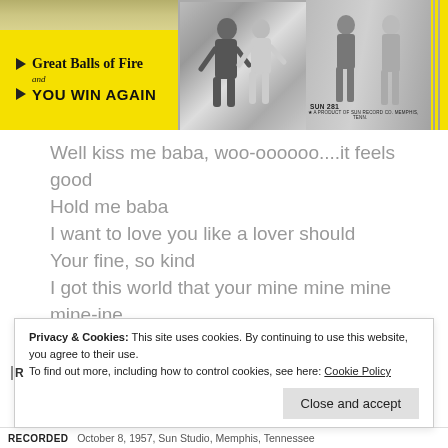[Figure (photo): Yellow record sleeve for 'Great Balls of Fire and You Win Again' on Sun Records, with black and white photos of a couple dancing and two people standing, Sun 281 label visible.]
Well kiss me baba, woo-oooooo....it feels good
Hold me baba
I want to love you like a lover should
Your fine, so kind
I got this world that your mine mine mine mine-ine
Privacy & Cookies: This site uses cookies. By continuing to use this website, you agree to their use.
To find out more, including how to control cookies, see here: Cookie Policy
Close and accept
RECORDED   October 8, 1957, Sun Studio, Memphis, Tennessee